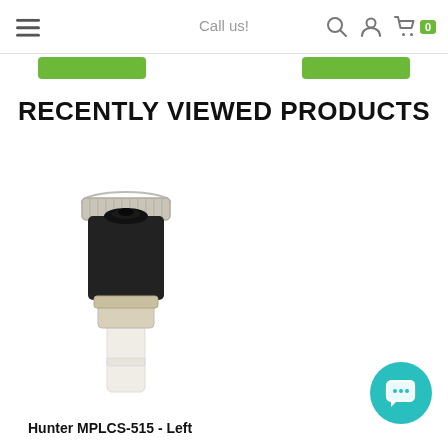≡  Call us!  🔍  👤  🛒 0
[Figure (other): Two green rectangular buttons side by side in a row below the header]
RECENTLY VIEWED PRODUCTS
[Figure (photo): Photo of Hunter MPLCS-515 Left sprinkler nozzle — black cylindrical top with silver ring, cream/white lower body and stem]
Hunter MPLCS-515 - Left